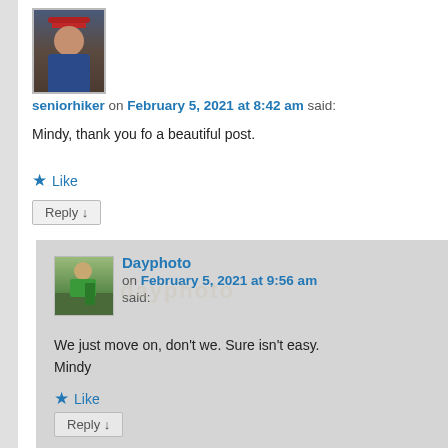[Figure (photo): Avatar photo of a person wearing a red cap, smiling, in front of a dark background]
seniorhiker on February 5, 2021 at 8:42 am said:
Mindy, thank you fo a beautiful post.
★ Like
Reply ↓
[Figure (photo): Small avatar photo of a person standing outdoors in green shirt]
Dayphoto on February 5, 2021 at 9:56 am said:
We just move on, don't we. Sure isn't easy. Mindy
★ Like
Reply ↓